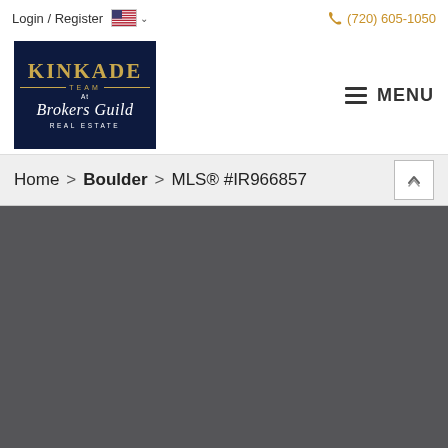Login / Register  (720) 605-1050
[Figure (logo): Kinkade Team at Brokers Guild Real Estate logo on dark navy background with gold text]
MENU
Home > Boulder > MLS® #IR966857
[Figure (screenshot): Dark gray main content area placeholder]